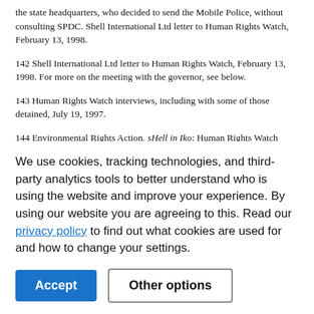the state headquarters, who decided to send the Mobile Police, without consulting SPDC. Shell International Ltd letter to Human Rights Watch, February 13, 1998.
142 Shell International Ltd letter to Human Rights Watch, February 13, 1998. For more on the meeting with the governor, see below.
143 Human Rights Watch interviews, including with some of those detained, July 19, 1997.
144 Environmental Rights Action, sHell in Iko; Human Rights Watch interview with Bruce Powell, June 20, 1998.
145 A major confrontation took place in 1987 between the
We use cookies, tracking technologies, and third-party analytics tools to better understand who is using the website and improve your experience. By using our website you are agreeing to this. Read our privacy policy to find out what cookies are used for and how to change your settings.